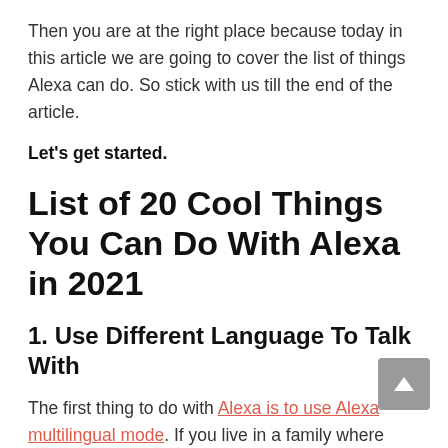Then you are at the right place because today in this article we are going to cover the list of things Alexa can do. So stick with us till the end of the article.
Let's get started.
List of 20 Cool Things You Can Do With Alexa in 2021
1. Use Different Language To Talk With
The first thing to do with Alexa is to use Alexa multilingual mode. If you live in a family where most of the people speak different tones of